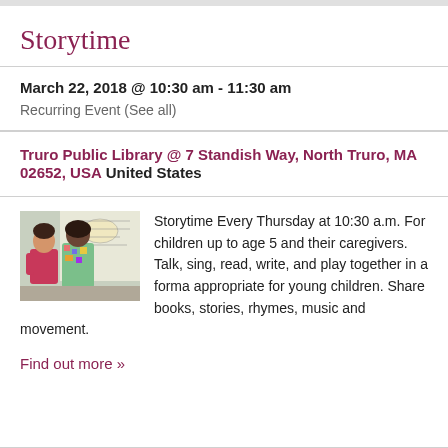Storytime
March 22, 2018 @ 10:30 am - 11:30 am
Recurring Event (See all)
Truro Public Library @ 7 Standish Way, North Truro, MA 02652, USA United States
[Figure (photo): Two people, one in a pink top and one in a colorful dress, standing near a whiteboard in a library setting]
Storytime Every Thursday at 10:30 a.m. For children up to age 5 and their caregivers. Talk, sing, read, write, and play together in a format appropriate for young children. Share books, stories, rhymes, music and movement.
Find out more »